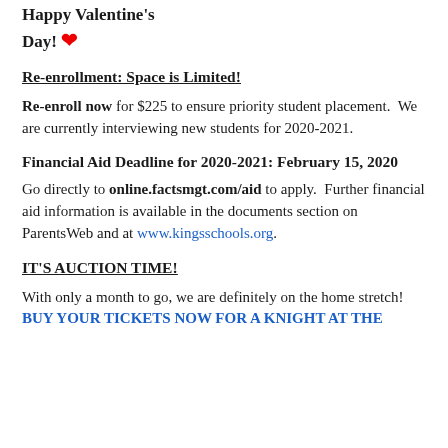Happy Valentine's Day! ❤
Re-enrollment: Space is Limited!
Re-enroll now for $225 to ensure priority student placement.  We are currently interviewing new students for 2020-2021.
Financial Aid Deadline for 2020-2021: February 15, 2020
Go directly to online.factsmgt.com/aid to apply.  Further financial aid information is available in the documents section on ParentsWeb and at www.kingsschools.org.
IT'S AUCTION TIME!
With only a month to go, we are definitely on the home stretch! BUY YOUR TICKETS NOW FOR A KNIGHT AT THE